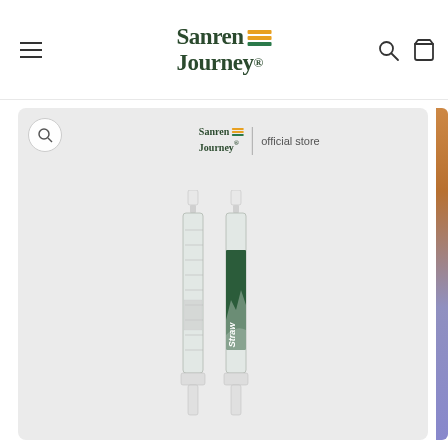Sanren Journey® — navigation header with menu, logo, search and cart icons
[Figure (photo): Product photo of two glass straw/syringe-style items on a light grey background, with Sanren Journey official store badge. One item has a green decorative label reading 'Straw'. Grey product area with zoom button in top-left corner.]